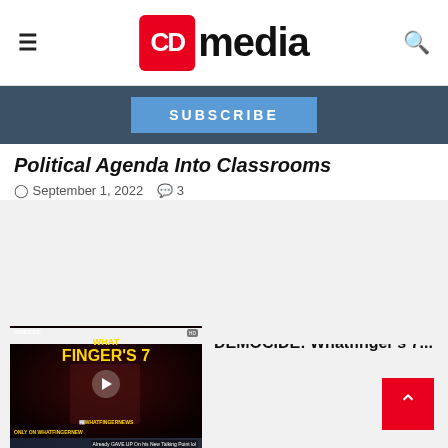CD media
SUBSCRIBE
Political Agenda Into Classrooms
September 1, 2022  3
[Figure (screenshot): Video thumbnail for DEMOCIDE: Whatfinger's 7 — dark background with 'WhatFinger's 7' in yellow text and Biden figure, WhatfingerNews logo at bottom]
DEMOCIDE: Whatfinger's 7...
[Figure (screenshot): Video thumbnail for Biden Already GAVE UP On His New Talking Point lol — showing red LIVES text and Biden figure]
Biden Already GAVE UP On His New Talking Point lol...